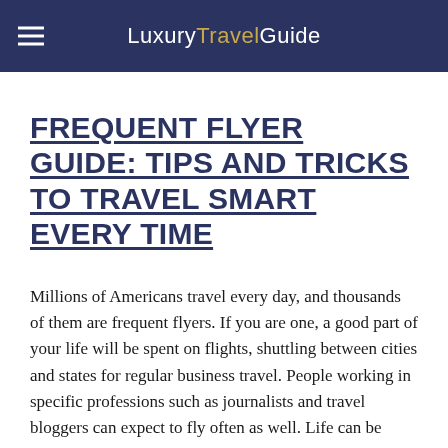LuxuryTravelGuide
FREQUENT FLYER GUIDE: TIPS AND TRICKS TO TRAVEL SMART EVERY TIME
Millions of Americans travel every day, and thousands of them are frequent flyers. If you are one, a good part of your life will be spent on flights, shuttling between cities and states for regular business travel. People working in specific professions such as journalists and travel bloggers can expect to fly often as well. Life can be pretty exciting as you explore different destinations, but